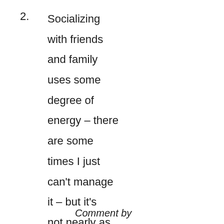2. Socializing with friends and family uses some degree of energy – there are some times I just can't manage it – but it's not nearly as stressful as interacting with strangers or acquaintances.
Comment by